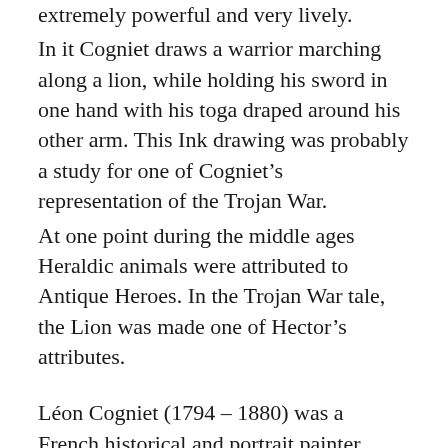extremely powerful and very lively.
In it Cogniet draws a warrior marching along a lion, while holding his sword in one hand with his toga draped around his other arm. This Ink drawing was probably a study for one of Cogniet’s representation of the Trojan War.
At one point during the middle ages Heraldic animals were attributed to Antique Heroes. In the Trojan War tale, the Lion was made one of Hector’s attributes.
Léon Cogniet (1794 – 1880) was a French historical and portrait painter.
He was born in Paris to a father that was a painter and wallpaper designer.
He entered the École des Beaux-Arts in Paris, where he studied under Pierre-